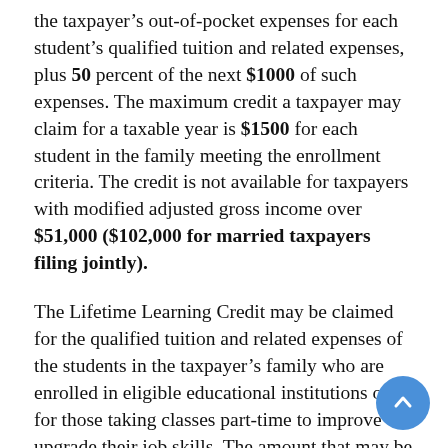the taxpayer's out-of-pocket expenses for each student's qualified tuition and related expenses, plus 50 percent of the next $1000 of such expenses. The maximum credit a taxpayer may claim for a taxable year is $1500 for each student in the family meeting the enrollment criteria. The credit is not available for taxpayers with modified adjusted gross income over $51,000 ($102,000 for married taxpayers filing jointly).
The Lifetime Learning Credit may be claimed for the qualified tuition and related expenses of the students in the taxpayer's family who are enrolled in eligible educational institutions or for those taking classes part-time to improve or upgrade their job skills. The amount that may be claimed as a credit is $1000 of out of pocket qualified expenses for all the students in the family. The credit is not available for taxpayers with